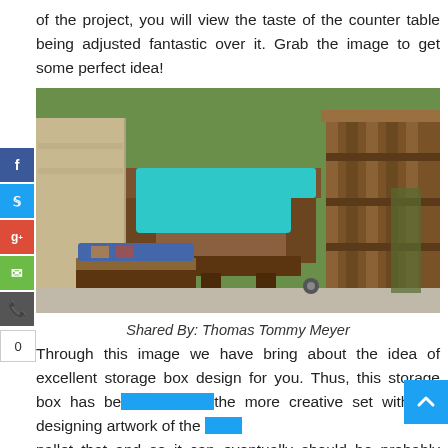of the project, you will view the taste of the counter table being adjusted fantastic over it. Grab the image to get some perfect idea!
[Figure (photo): Outdoor pallet furniture set including a chair with turquoise cushion, a footstool with patterned cushion, and a tall wooden pallet bar/divider, surrounded by greenery.]
Shared By: Thomas Tommy Meyer
Through this image we have bring about the idea of excellent storage box design for you. Thus, this storage box has be... the more creative set with the designing artwork of the pallet that and so it can eventually should be probably looking in...